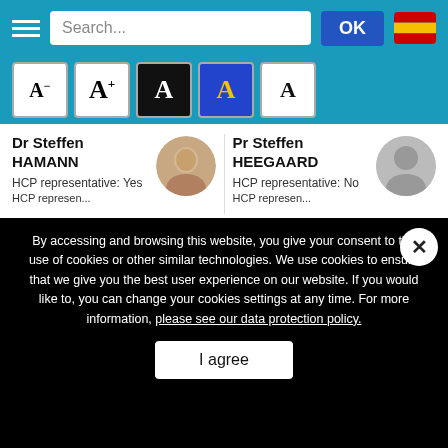[Figure (screenshot): Navigation bar with hamburger menu, search box, OK button, and Spanish flag]
[Figure (screenshot): Font size toolbar with 5 font-size buttons (A-, A+, A white-on-black, A yellow-on-blue, A plain)]
Dr Steffen HAMANN
HCP representative: Yes
Pr Steffen HEEGAARD
HCP representative: No
By accessing and browsing this website, you give your consent to the use of cookies or other similar technologies. We use cookies to ensure that we give you the best user experience on our website. If you would like to, you can change your cookies settings at any time. For more information, please see our data protection policy.